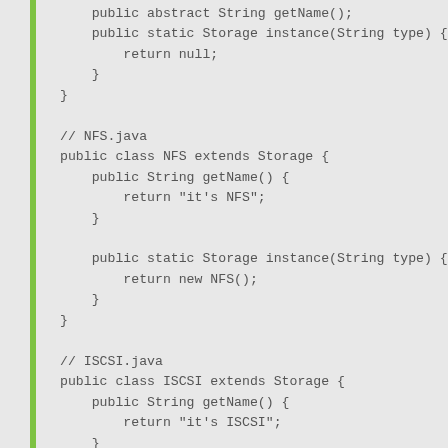[Figure (screenshot): Java source code snippet showing abstract Storage class partial continuation, NFS class extending Storage, and ISCSI class extending Storage, displayed in a monospace font on a light grey background with a green left border bar.]